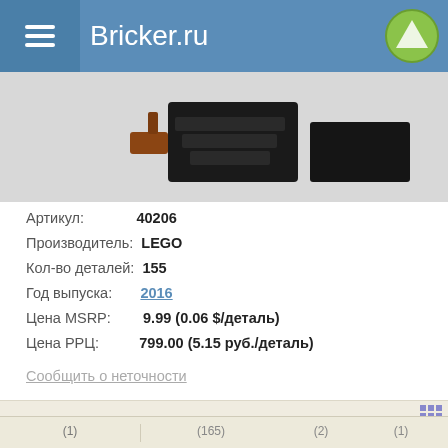Bricker.ru
[Figure (photo): LEGO set product image showing dark/black brick pieces on a light grey background]
Артикул: 40206
Производитель: LEGO
Кол-во деталей: 155
Год выпуска: 2016
Цена MSRP: 9.99 (0.06 $/деталь)
Цена РРЦ: 799.00 (5.15 руб./деталь)
Сообщить о неточности
(1) (165) (2) (1)